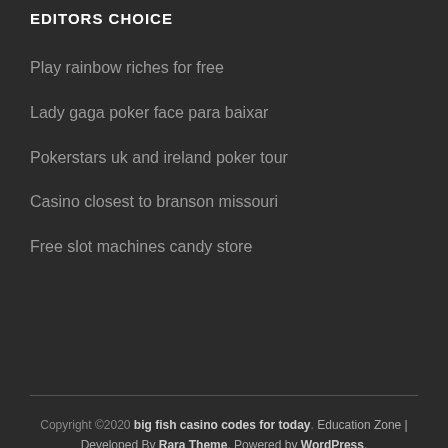EDITORS CHOICE
Play rainbow riches for free
Lady gaga poker face para baixar
Pokerstars uk and ireland poker tour
Casino closest to branson missouri
Free slot machines candy store
Copyright ©2020 big fish casino codes for today. Education Zone | Developed By Rara Theme. Powered by WordPress.